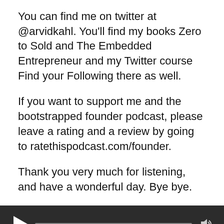You can find me on twitter at @arvidkahl. You'll find my books Zero to Sold and The Embedded Entrepreneur and my Twitter course Find your Following there as well.
If you want to support me and the bootstrapped founder podcast, please leave a rating and a review by going to ratethispodcast.com/founder.
Thank you very much for listening, and have a wonderful day. Bye bye.
[Figure (other): Audio player bar with play button, progress bar, volume icon, timestamps 00:00 and 00:00, and 'BROADCAST BY Transistor' branding at the bottom]